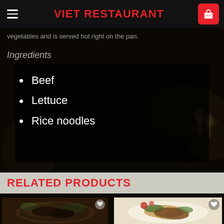VIET RESTAURANT
vegetables and is served hot right on the pan.
Ingredients
Beef
Lettuce
Rice noodles
RELATED PRODUCTS
[Figure (photo): Food dish photo - beef and vegetable salad with garnish]
[Figure (photo): Food dish photo - beef salad with nuts and vegetables on white plate]